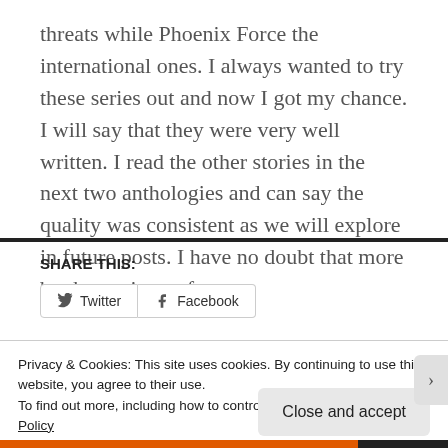threats while Phoenix Force the international ones. I always wanted to try these series out and now I got my chance. I will say that they were very well written. I read the other stories in the next two anthologies and can say the quality was consistent as we will explore in future posts. I have no doubt that more books are in my future.
SHARE THIS:
[Figure (screenshot): Share buttons for Twitter and Facebook]
Privacy & Cookies: This site uses cookies. By continuing to use this website, you agree to their use. To find out more, including how to control cookies, see here: Cookie Policy
Close and accept